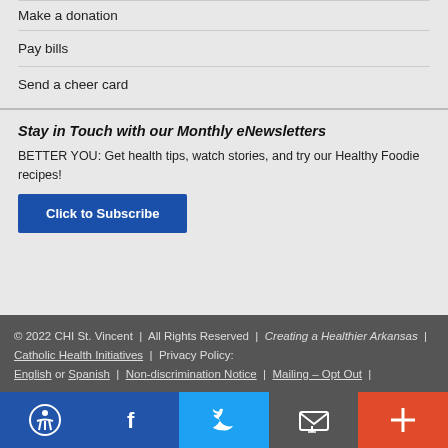Make a donation
Pay bills
Send a cheer card
Stay in Touch with our Monthly eNewsletters
BETTER YOU: Get health tips, watch stories, and try our Healthy Foodie recipes!
Click to Subscribe
© 2022 CHI St. Vincent | All Rights Reserved | Creating a Healthier Arkansas | Catholic Health Initiatives | Privacy Policy: English or Spanish | Non-discrimination Notice | Mailing – Opt Out |